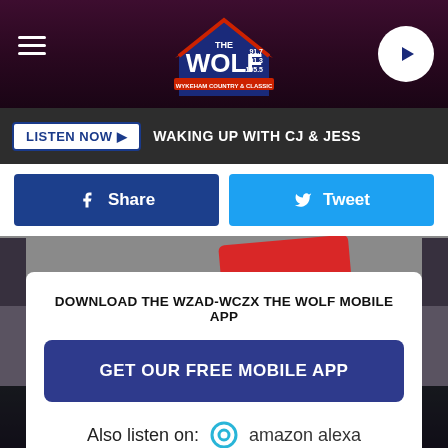[Figure (screenshot): The Wolf radio station header logo with purple/maroon background]
LISTEN NOW ▶   WAKING UP WITH CJ & JESS
f  Share
🐦  Tweet
DOWNLOAD THE WZAD-WCZX THE WOLF MOBILE APP
GET OUR FREE MOBILE APP
Also listen on:  amazon alexa